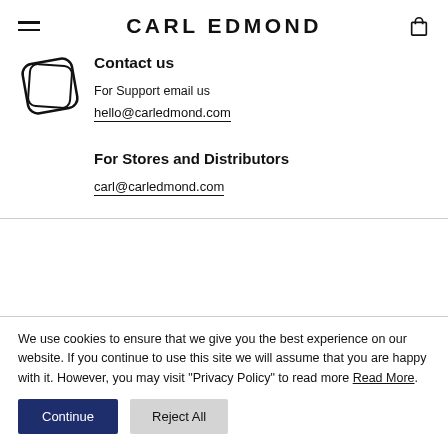CARL EDMOND
Contact us
For Support email us
hello@carledmond.com
For Stores and Distributors
carl@carledmond.com
We use cookies to ensure that we give you the best experience on our website. If you continue to use this site we will assume that you are happy with it. However, you may visit "Privacy Policy" to read more Read More.